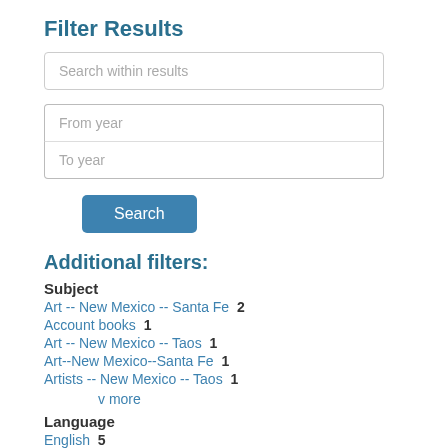Filter Results
Search within results
From year
To year
Search
Additional filters:
Subject
Art -- New Mexico -- Santa Fe  2
Account books  1
Art -- New Mexico -- Taos  1
Art--New Mexico--Santa Fe  1
Artists -- New Mexico -- Taos  1
v more
Language
English  5